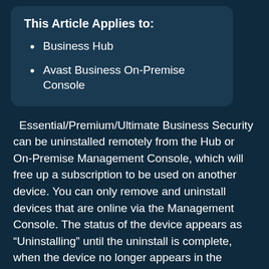This Article Applies to:
Business Hub
Avast Business On-Premise Console
Essential/Premium/Ultimate Business Security can be uninstalled remotely from the Hub or On-Premise Management Console, which will free up a subscription to be used on another device. You can only remove and uninstall devices that are online via the Management Console. The status of the device appears as “Uninstalling” until the uninstall is complete, when the device no longer appears in the console.
The next time a removed device communicates with the Management Console, it will receive the uninstall command. Essential/Premium/Ultimate Business Security will then be uninstalled, and a